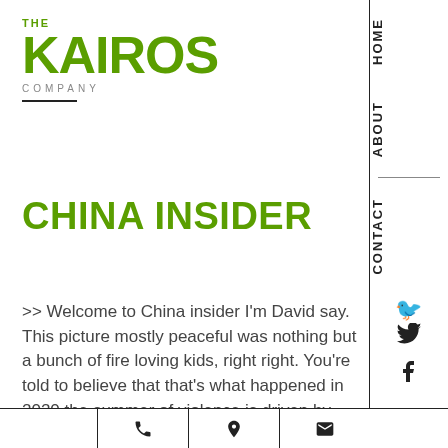[Figure (logo): The Kairos Company logo — green bold text 'THE KAIROS' with 'COMPANY' in small caps, followed by a short horizontal rule]
CHINA INSIDER
>> Welcome to China insider I'm David say. This picture mostly peaceful was nothing but a bunch of fire loving kids, right right. You're told to believe that that's what happened in 2020 the summer of violence is driven by ideology said attempts to subvert and take over America, Marxism and socialism. The
Phone | Location | Email